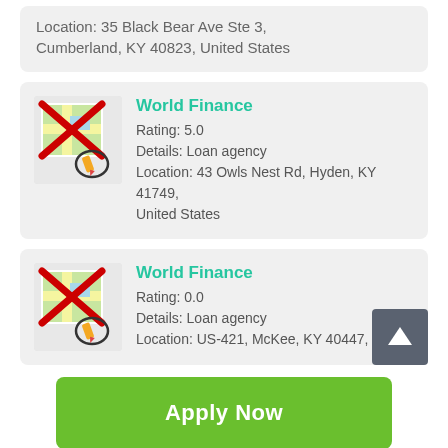Location: 35 Black Bear Ave Ste 3, Cumberland, KY 40823, United States
World Finance
Rating: 5.0
Details: Loan agency
Location: 43 Owls Nest Rd, Hyden, KY 41749, United States
World Finance
Rating: 0.0
Details: Loan agency
Location: US-421, McKee, KY 40447, United
Apply Now
Applying does NOT affect your credit score!
No credit check to apply.